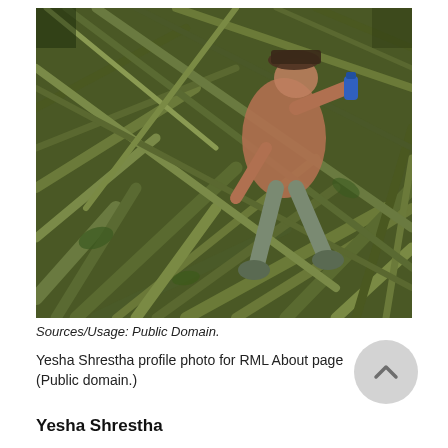[Figure (photo): A person in brown top and grey boots climbing through a dense tangle of aerial roots or banyan tree roots in a forest setting. The person is holding a blue water bottle.]
Sources/Usage: Public Domain.
Yesha Shrestha profile photo for RML About page (Public domain.)
Yesha Shrestha